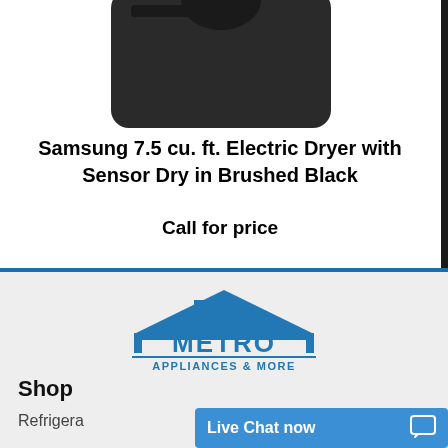[Figure (photo): Partial view of a Samsung electric dryer in Brushed Black, cropped at the top]
Samsung 7.5 cu. ft. Electric Dryer with Sensor Dry in Brushed Black
Call for price
[Figure (logo): Metro Appliances & More logo — blue house silhouette with METRO in large letters and Appliances & More below]
Shop
Refrigera
Live Chat now